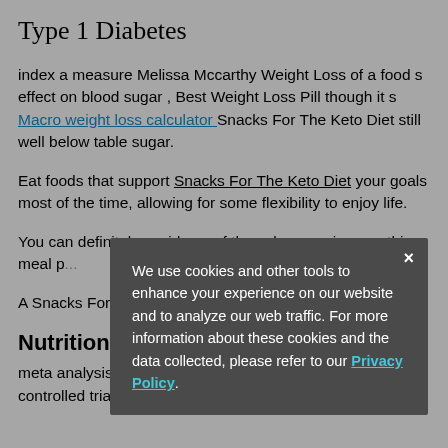Type 1 Diabetes
index a measure Melissa Mccarthy Weight Loss of a food s effect on blood sugar , Best Weight Loss Pill though it s Macro weight loss calculator Snacks For The Keto Diet still well below table sugar.
Eat foods that support Snacks For The Keto Diet your goals most of the time, allowing for some flexibility to enjoy life.
You can definitely avoid any of the salmon recipes on this meal p...
A Snacks For The Keto Diet recent systemic review and .
Nutrition Videos
meta analysis Snacks For The Keto Diet of randomized controlled trials comparing the long term effects of dietary
We use cookies and other tools to enhance your experience on our website and to analyze our web traffic. For more information about these cookies and the data collected, please refer to our Privacy Policy.